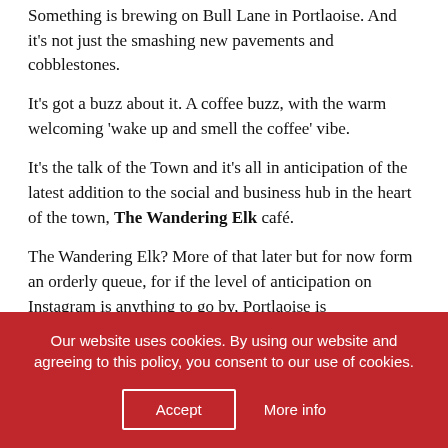Something is brewing on Bull Lane in Portlaoise. And it's not just the smashing new pavements and cobblestones.
It's got a buzz about it. A coffee buzz, with the warm welcoming 'wake up and smell the coffee' vibe.
It's the talk of the Town and it's all in anticipation of the latest addition to the social and business hub in the heart of the town, The Wandering Elk café.
The Wandering Elk? More of that later but for now form an orderly queue, for if the level of anticipation on Instagram is anything to go by, Portlaoise is
Our website uses cookies. By using our website and agreeing to this policy, you consent to our use of cookies.
Accept
More info